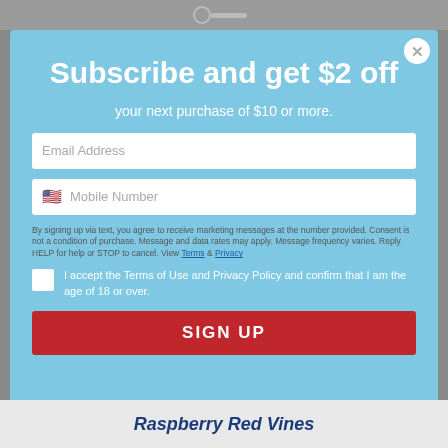Subscribe and get $2 off
your next purchase of $10 or more.
Email Address
Mobile Number
By signing up via text, you agree to receive marketing messages at the number provided. Consent is not a condition of purchase. Message and data rates may apply. Message frequency varies. Reply HELP for help or STOP to cancel. View Terms & Privacy
I accept the Terms of Use and Privacy Policy and confirm that I am the age of 18 or over.
SIGN UP
Raspberry Red Vines